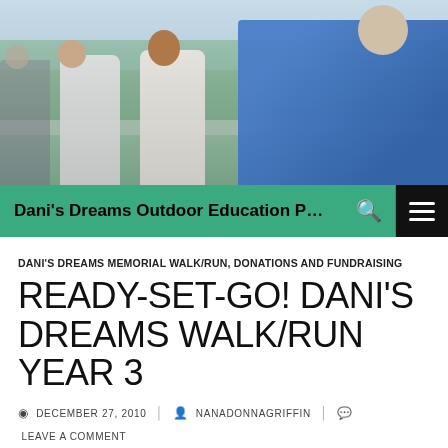[Figure (photo): Outdoor photo showing children and an elderly man in a blue shirt interacting at an outdoor event, with trees and sky in background.]
Dani's Dreams Outdoor Education Progra...
DANI'S DREAMS MEMORIAL WALK/RUN, DONATIONS AND FUNDRAISING
READY-SET-GO! DANI'S DREAMS WALK/RUN YEAR 3
DECEMBER 27, 2010  NANADONNAGRIFFIN  LEAVE A COMMENT